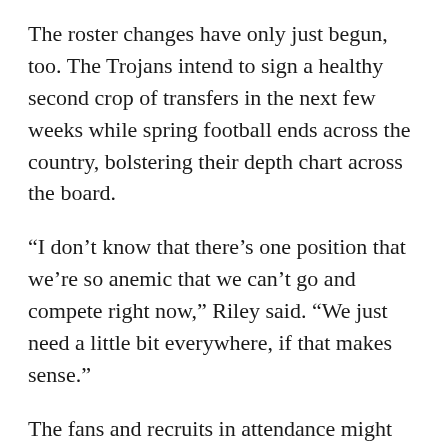The roster changes have only just begun, too. The Trojans intend to sign a healthy second crop of transfers in the next few weeks while spring football ends across the country, bolstering their depth chart across the board.
“I don’t know that there’s one position that we’re so anemic that we can’t go and compete right now,” Riley said. “We just need a little bit everywhere, if that makes sense.”
The fans and recruits in attendance might not have paid much attention to the perfect weather and the Coliseum’s clear views from the San Gabriel Mountains to the Pacific Ocean, but they saw what Riley is building on the field.
The regular season starts Sept. 3 when Rice visits the Coliseum, and former Alabama linebacker Shane Lee thinks the Trojans will be ready to impress even more